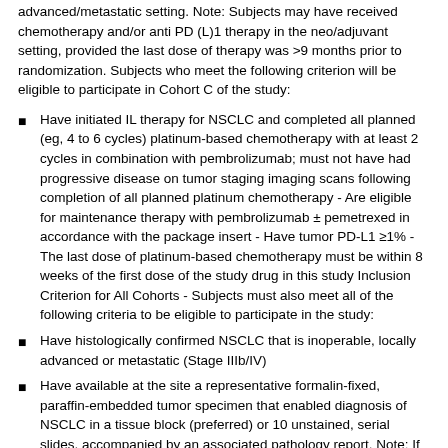advanced/metastatic setting. Note: Subjects may have received chemotherapy and/or anti PD (L)1 therapy in the neo/adjuvant setting, provided the last dose of therapy was >9 months prior to randomization. Subjects who meet the following criterion will be eligible to participate in Cohort C of the study:
Have initiated IL therapy for NSCLC and completed all planned (eg, 4 to 6 cycles) platinum-based chemotherapy with at least 2 cycles in combination with pembrolizumab; must not have had progressive disease on tumor staging imaging scans following completion of all planned platinum chemotherapy - Are eligible for maintenance therapy with pembrolizumab ± pemetrexed in accordance with the package insert - Have tumor PD-L1 ≥1% - The last dose of platinum-based chemotherapy must be within 8 weeks of the first dose of the study drug in this study Inclusion Criterion for All Cohorts - Subjects must also meet all of the following criteria to be eligible to participate in the study:
Have histologically confirmed NSCLC that is inoperable, locally advanced or metastatic (Stage IIIb/IV)
Have available at the site a representative formalin-fixed, paraffin-embedded tumor specimen that enabled diagnosis of NSCLC in a tissue block (preferred) or 10 unstained, serial slides, accompanied by an associated pathology report. Note: If the archival tissue is neither sufficient nor available, the subject may still be eligible